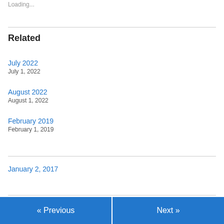Loading...
Related
July 2022
July 1, 2022
August 2022
August 1, 2022
February 2019
February 1, 2019
January 2, 2017
« Previous
Next »